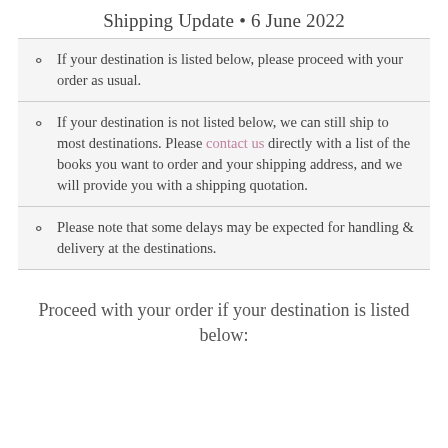Shipping Update • 6 June 2022
If your destination is listed below, please proceed with your order as usual.
If your destination is not listed below, we can still ship to most destinations. Please contact us directly with a list of the books you want to order and your shipping address, and we will provide you with a shipping quotation.
Please note that some delays may be expected for handling & delivery at the destinations.
Proceed with your order if your destination is listed below: